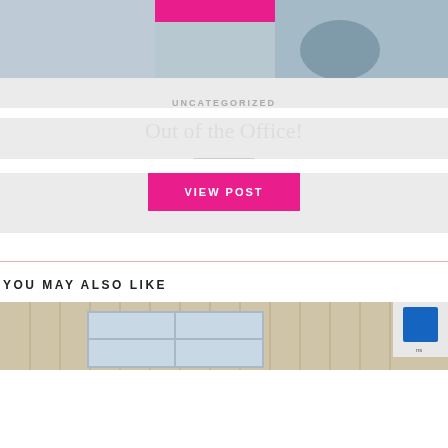[Figure (photo): Top portion of a colorful mural/artwork photo with a pink bar overlay at the top]
UNCATEGORIZED
Out of the Office!
VIEW POST
YOU MAY ALSO LIKE
[Figure (photo): Bottom portion showing a wooden-sided building with a window, partially visible]